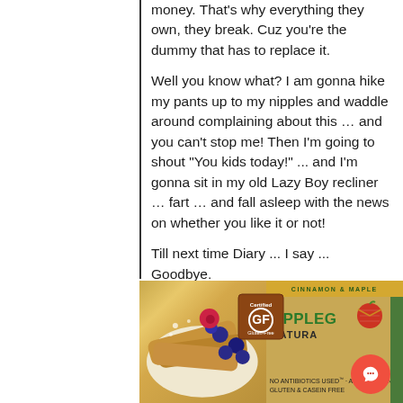money. That's why everything they own, they break. Cuz you're the dummy that has to replace it.

Well you know what? I am gonna hike my pants up to my nipples and waddle around complaining about this … and you can't stop me! Then I'm going to shout "You kids today!" ... and I'm gonna sit in my old Lazy Boy recliner … fart … and fall asleep with the news on whether you like it or not!

Till next time Diary ... I say ... Goodbye.
[Figure (photo): Product photo of Applegate Naturals food box — gluten-free certified badge shown, with food items (crepes/wraps with blueberries and raspberries), Applegate logo with apple, text reading 'APPLEGATE NATURALS', 'NO ANTIBIOTICS USED - APPLEGATE...', 'GLUTEN & CASEIN FREE'. A red circular chat bubble icon overlays the lower right.]